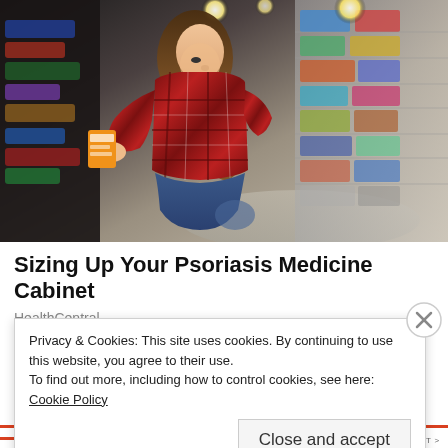[Figure (photo): Woman in red plaid shirt crouching in a pharmacy/store aisle, reading a product label from a shelf]
Sizing Up Your Psoriasis Medicine Cabinet
HealthCentral
Privacy & Cookies: This site uses cookies. By continuing to use this website, you agree to their use.
To find out more, including how to control cookies, see here: Cookie Policy
Close and accept